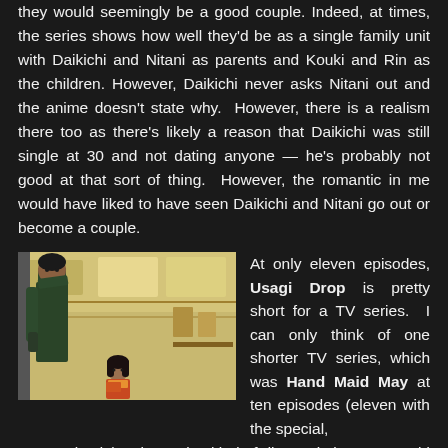they would seemingly be a good couple. Indeed, at times, the series shows how well they'd be as a single family unit with Daikichi and Nitani as parents and Kouki and Rin as the children. However, Daikichi never asks Nitani out and the anime doesn't state why. However, there is a realism there too as there's likely a reason that Daikichi was still single at 30 and not dating anyone — he's probably not good at that sort of thing. However, the romantic in me would have liked to have seen Daikichi and Nitani go out or become a couple.
[Figure (photo): Anime screenshot from Usagi Drop showing a tall male character looking down at a small female character in what appears to be a store or indoor setting with shelves in the background.]
At only eleven episodes, Usagi Drop is pretty short for a TV series. I can only think of one shorter TV series, which was Hand Maid May at ten episodes (eleven with the special, extra episode). That's also kind of disappointing as I would have liked twelve or thirteen episodes. However, despite the disappointment, the series ends well enough. Things are open-ended so that a second series could be done for sure. Whether they do or not remains to be seen. Hopefully, a U.S. company licenses this anime and picks up the little extra episodes that are